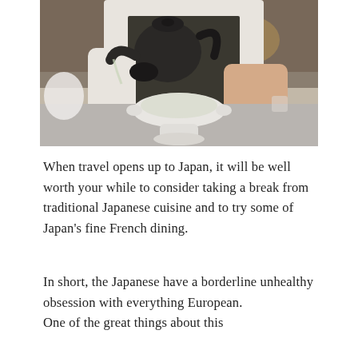[Figure (photo): A person in a white shirt and dark apron pouring liquid from a dark cast-iron teapot into a white ceramic footed bowl on a gray counter surface, restaurant setting in the background.]
When travel opens up to Japan, it will be well worth your while to consider taking a break from traditional Japanese cuisine and to try some of Japan's fine French dining.
In short, the Japanese have a borderline unhealthy obsession with everything European.
One of the great things about this